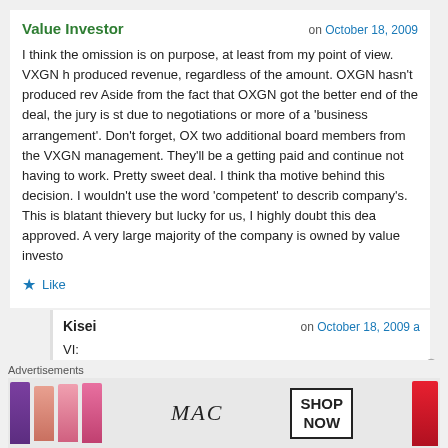Value Investor  on October 18, 2009
I think the omission is on purpose, at least from my point of view. VXGN h produced revenue, regardless of the amount. OXGN hasn't produced rev Aside from the fact that OXGN got the better end of the deal, the jury is st due to negotiations or more of a 'business arrangement'. Don't forget, OX two additional board members from the VXGN management. They'll be a getting paid and continue not having to work. Pretty sweet deal. I think tha motive behind this decision. I wouldn't use the word 'competent' to describ company's. This is blatant thievery but lucky for us, I highly doubt this dea approved. A very large majority of the company is owned by value investo
Like
Kisei  on October 18, 2009 a
VI:
I agree with you. I was being somewhat facetious :)
Advertisements
[Figure (photo): MAC cosmetics advertisement banner showing lipsticks in purple, peach, pink colors with MAC logo and SHOP NOW button]